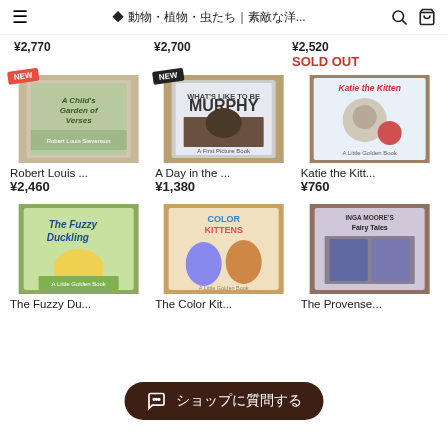≡ ◆ 動物・植物・虫たち | 素敵な洋... 🔍 🛒
¥2,770   ¥2,700   ¥2,520
SOLD OUT
[Figure (screenshot): Grid of 3 book product listings with NEW badges. Row 1: 'Robert Louis ...' ¥2,460, 'A Day in the ...' ¥1,380, 'Katie the Kitt...' ¥760]
Robert Louis ...
¥2,460
A Day in the ...
¥1,380
Katie the Kitt...
¥760
[Figure (screenshot): Grid of 3 book product listings (partial). 'The Fuzzy Du...', 'The Color Kit...', 'The Provense...']
The Fuzzy Du...   The Color Kit...   The Provense...
ショップに質問する